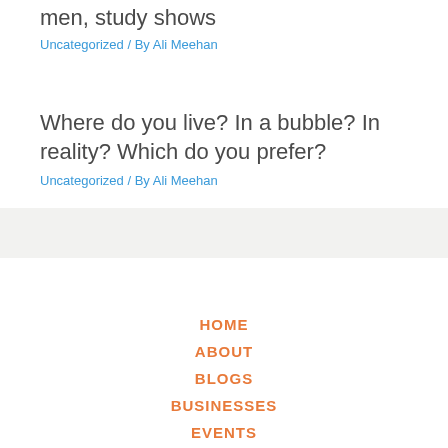men, study shows
Uncategorized / By Ali Meehan
Where do you live? In a bubble? In reality? Which do you prefer?
Uncategorized / By Ali Meehan
HOME
ABOUT
BLOGS
BUSINESSES
EVENTS
PROPERTY
CONTACT